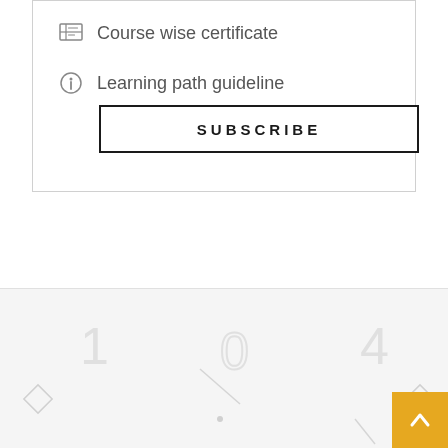Course wise certificate
Learning path guideline
SUBSCRIBE
[Figure (illustration): Decorative background section with light gray geometric shapes: numbers 1, 0, 4, small dots, diamond outlines, and line segments arranged as a pattern]
[Figure (other): Back-to-top button: amber/golden square with upward pointing chevron arrow]